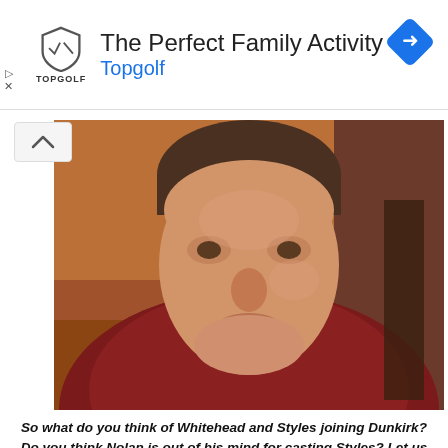[Figure (advertisement): Topgolf advertisement banner with shield logo, headline 'The Perfect Family Activity', brand name 'Topgolf' in blue, and a blue diamond navigation icon on the right.]
[Figure (photo): Close-up photo of a young man with short brown hair wearing a dark red/maroon hoodie, looking slightly downward. Warm reddish-brown background.]
So what do you think of Whitehead and Styles joining Dunkirk? Do you think Nolan is out of his mind for casting Styles? Let us know below!
Tony Falcone
Second Trailer Drops For 'Captain America: Civil War' Giving Us Our First Look At The New Spider-Man